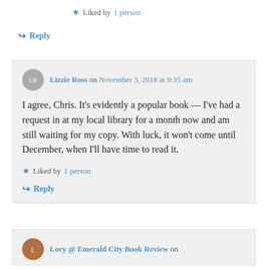★ Liked by 1 person
↪ Reply
Lizzie Ross on November 3, 2018 at 9:35 am
I agree, Chris. It's evidently a popular book — I've had a request in at my local library for a month now and am still waiting for my copy. With luck, it won't come until December, when I'll have time to read it.
★ Liked by 1 person
↪ Reply
Lory @ Emerald City Book Review on